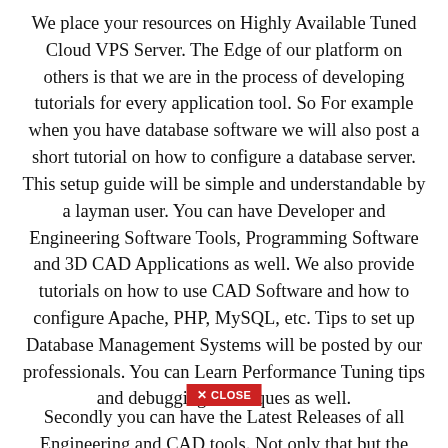We place your resources on Highly Available Tuned Cloud VPS Server. The Edge of our platform on others is that we are in the process of developing tutorials for every application tool. So For example when you have database software we will also post a short tutorial on how to configure a database server. This setup guide will be simple and understandable by a layman user. You can have Developer and Engineering Software Tools, Programming Software and 3D CAD Applications as well. We also provide tutorials on how to use CAD Software and how to configure Apache, PHP, MySQL, etc. Tips to set up Database Management Systems will be posted by our professionals. You can Learn Performance Tuning tips and debugging techniques as well.
✕ CLOSE
Secondly you can have the Latest Releases of all Engineering and CAD tools. Not only that but content...